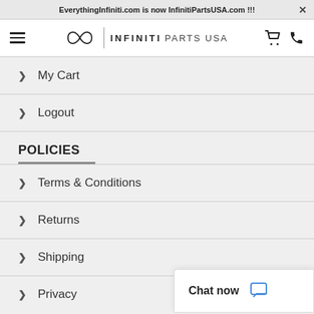EverythingInfiniti.com is now InfinitiPartsUSA.com !!!
[Figure (logo): Infiniti Parts USA logo with hamburger menu, Infiniti infinity symbol, brand text, cart icon and phone icon]
My Cart
Logout
POLICIES
Terms & Conditions
Returns
Shipping
Privacy
Chat now